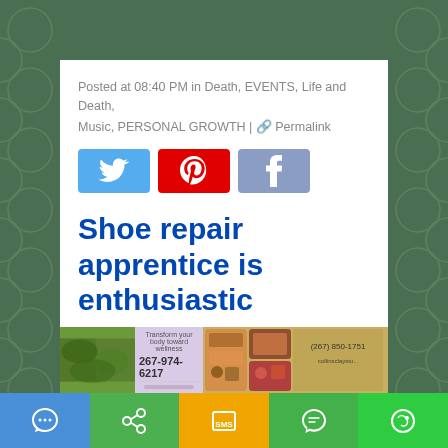Posted at 08:40 PM in Death, EVENTS, Life and Death, Music, PERSONAL GROWTH | 🔗 Permalink
[Figure (illustration): Twitter, Pinterest, and Facebook social share buttons]
Shoe repair apprentice is enthusiastic
August 15, 2018
[Figure (photo): Collage of images including trees, a wellness advertisement showing 267-974-6217, and colorful tiles]
[Figure (illustration): Bottom navigation bar with messenger, share, SMS, WhatsApp, and WeChat icons]